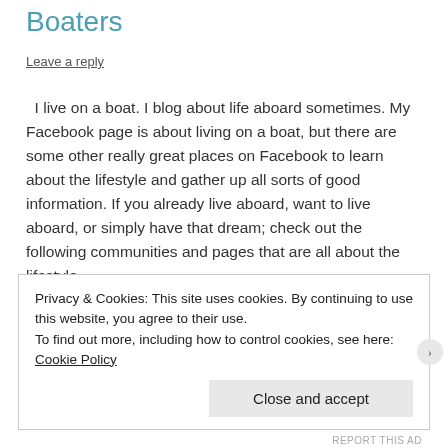Boaters
Leave a reply
I live on a boat. I blog about life aboard sometimes. My Facebook page is about living on a boat, but there are some other really great places on Facebook to learn about the lifestyle and gather up all sorts of good information. If you already live aboard, want to live aboard, or simply have that dream; check out the following communities and pages that are all about the lifestyle.
Privacy & Cookies: This site uses cookies. By continuing to use this website, you agree to their use.
To find out more, including how to control cookies, see here: Cookie Policy
Close and accept